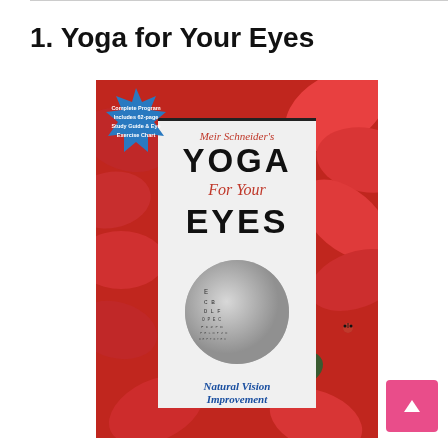1. Yoga for Your Eyes
[Figure (photo): Book cover for 'Meir Schneider's Yoga For Your Eyes - Natural Vision Improvement'. The cover shows a DVD/book with text on a white inner card set against a background of red/pink flowers. A blue starburst badge reads 'Complete Program Includes 62-page Study Guide & Eye Exercise Chart'. The inner card shows the title in large bold black letters with 'For Your' and 'Natural Vision Improvement' in italic red/blue text. A circular inset shows an eye chart and a smiling man.]